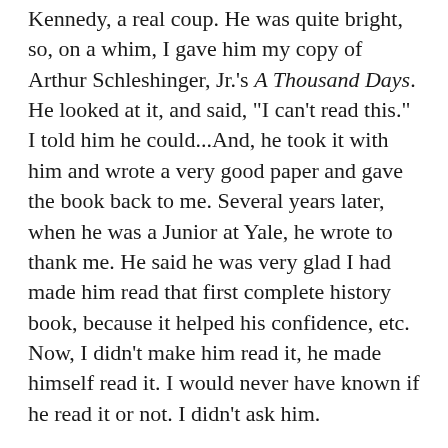Kennedy, a real coup. He was quite bright, so, on a whim, I gave him my copy of Arthur Schleshinger, Jr.'s A Thousand Days. He looked at it, and said, "I can't read this." I told him he could...And, he took it with him and wrote a very good paper and gave the book back to me. Several years later, when he was a Junior at Yale, he wrote to thank me. He said he was very glad I had made him read that first complete history book, because it helped his confidence, etc. Now, I didn't make him read it, he made himself read it. I would never have known if he read it or not. I didn't ask him.
But it made me think about the possibility of assigning complete history books to our high school students.
After I began The Concord Review in 1987, I had